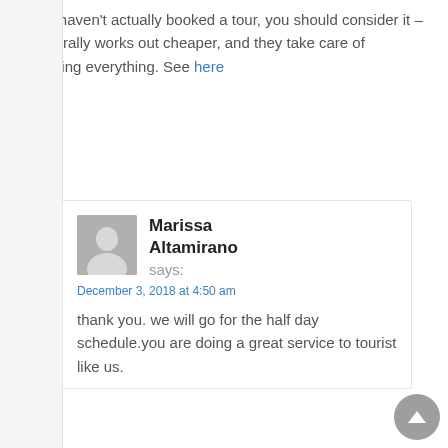If you haven't actually booked a tour, you should consider it – it generally works out cheaper, and they take care of arranging everything. See here
Reply
[Figure (illustration): User avatar placeholder showing a generic person silhouette in gray]
Marissa Altamirano says:
December 3, 2018 at 4:50 am
thank you. we will go for the half day schedule.you are doing a great service to tourist like us.